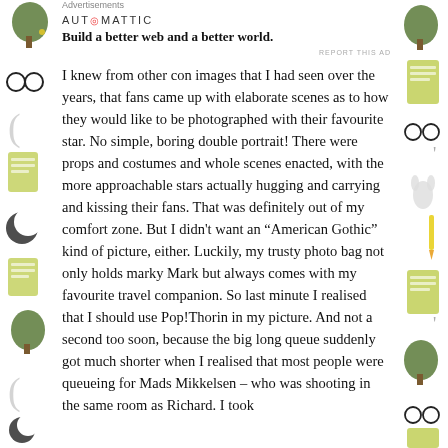Advertisements
AUT⊙MATTIC
Build a better web and a better world.
REPORT THIS AD
I knew from other con images that I had seen over the years, that fans came up with elaborate scenes as to how they would like to be photographed with their favourite star. No simple, boring double portrait! There were props and costumes and whole scenes enacted, with the more approachable stars actually hugging and carrying and kissing their fans. That was definitely out of my comfort zone. But I didn't want an “American Gothic” kind of picture, either. Luckily, my trusty photo bag not only holds marky Mark but always comes with my favourite travel companion. So last minute I realised that I should use Pop!Thorin in my picture. And not a second too soon, because the big long queue suddenly got much shorter when I realised that most people were queueing for Mads Mikkelsen – who was shooting in the same room as Richard. I took